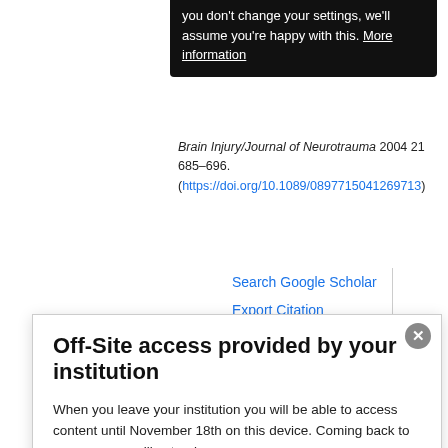you don't change your settings, we'll assume you're happy with this. More information
Brain Injury/Journal of Neurotrauma 2004 21 685–696. (https://doi.org/10.1089/0897715041269713)
Search Google Scholar
Export Citation
15 ↑Popovic V, Aimaretti G, Casanueva FF & Ghigo E.
Off-Site access provided by your institution
When you leave your institution you will be able to access content until November 18th on this device. Coming back to your campus will extend your access.
Learn more about institution sponsored off-site access here